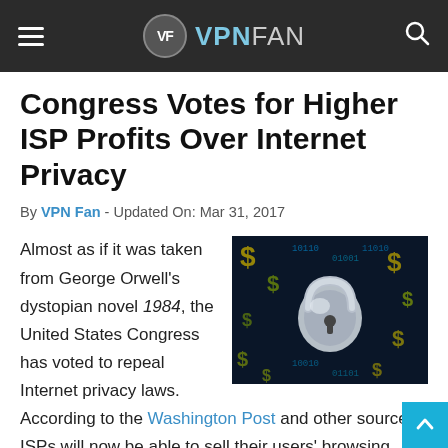VF VPNFAN
Congress Votes for Higher ISP Profits Over Internet Privacy
By VPN Fan - Updated On: Mar 31, 2017
[Figure (photo): A glowing silver padlock over a background of dollar signs and binary code in blue and yellow/green colors, symbolizing internet security and money.]
Almost as if it was taken from George Orwell's dystopian novel 1984, the United States Congress has voted to repeal Internet privacy laws. According to the Washington Post and other sources, ISPs will now be able to sell their users' browsing history without needing permission. Yes Big Brother is watching, and it has familiar names like Comcast, AT&T, Verizon and others. Additionally